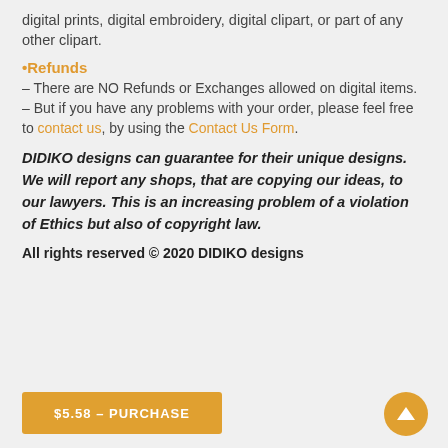digital prints, digital embroidery, digital clipart, or part of any other clipart.
•Refunds
– There are NO Refunds or Exchanges allowed on digital items.
– But if you have any problems with your order, please feel free to contact us, by using the Contact Us Form.
DIDIKO designs can guarantee for their unique designs.
We will report any shops, that are copying our ideas, to our lawyers. This is an increasing problem of a violation of Ethics but also of copyright law.
All rights reserved © 2020 DIDIKO designs
$5.58 – PURCHASE